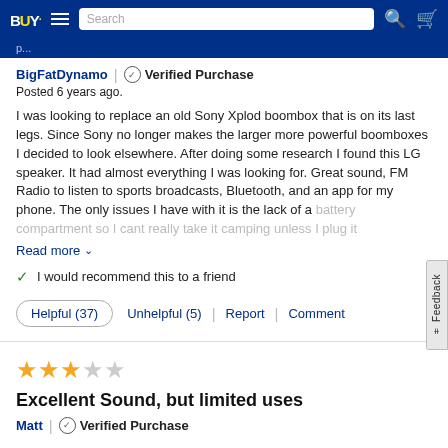Best Buy | Search
BigFatDynamo | Verified Purchase
Posted 6 years ago.
I was looking to replace an old Sony Xplod boombox that is on its last legs. Since Sony no longer makes the larger more powerful boomboxes I decided to look elsewhere. After doing some research I found this LG speaker. It had almost everything I was looking for. Great sound, FM Radio to listen to sports broadcasts, Bluetooth, and an app for my phone. The only issues I have with it is the lack of a battery compartment so I cant really take it camping unless I plug it
Read more
I would recommend this to a friend
Helpful (37) | Unhelpful (5) | Report | Comment
[Figure (other): Star rating: 3 out of 5 stars (3 filled stars, 2 empty)]
Excellent Sound, but limited uses
Matt | Verified Purchase